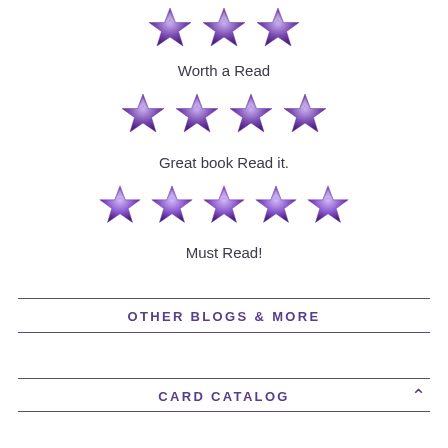[Figure (other): Three purple stars rating]
Worth a Read
[Figure (other): Four purple stars rating]
Great book Read it.
[Figure (other): Five purple stars rating]
Must Read!
OTHER BLOGS & MORE
CARD CATALOG